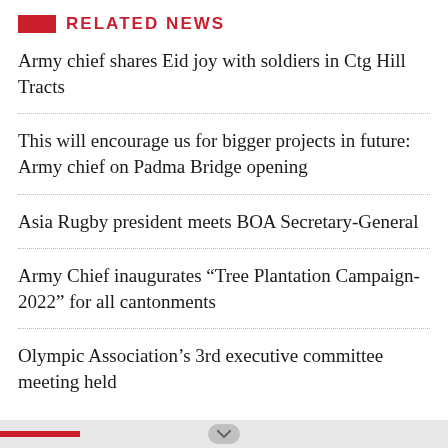RELATED NEWS
Army chief shares Eid joy with soldiers in Ctg Hill Tracts
This will encourage us for bigger projects in future: Army chief on Padma Bridge opening
Asia Rugby president meets BOA Secretary-General
Army Chief inaugurates “Tree Plantation Campaign-2022” for all cantonments
Olympic Association’s 3rd executive committee meeting held